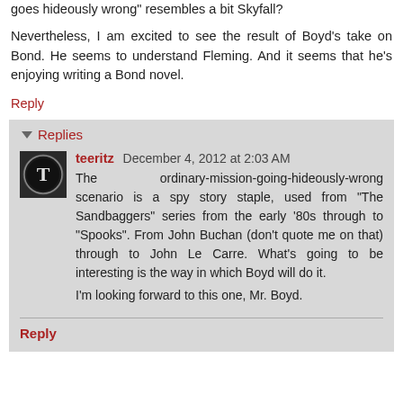goes hideously wrong" resembles a bit Skyfall?
Nevertheless, I am excited to see the result of Boyd's take on Bond. He seems to understand Fleming. And it seems that he's enjoying writing a Bond novel.
Reply
Replies
teeritz  December 4, 2012 at 2:03 AM
The ordinary-mission-going-hideously-wrong scenario is a spy story staple, used from "The Sandbaggers" series from the early '80s through to "Spooks". From John Buchan (don't quote me on that) through to John Le Carre. What's going to be interesting is the way in which Boyd will do it.
I'm looking forward to this one, Mr. Boyd.
Reply